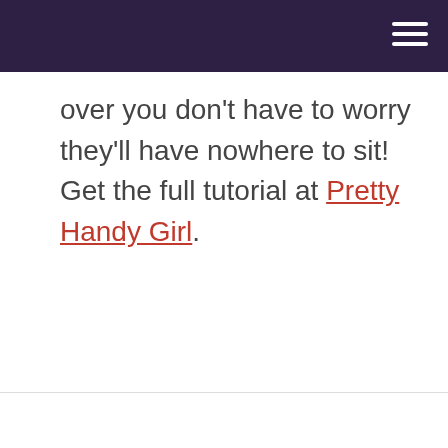over you don't have to worry they'll have nowhere to sit! Get the full tutorial at Pretty Handy Girl.